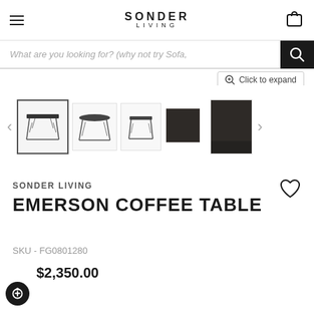SONDER LIVING
What are you looking for? (why not try Sofa,
Click to expand
[Figure (photo): Thumbnail carousel showing 5 product images of the Emerson Coffee Table from various angles including front view, angled view, side view, top texture closeup, and material detail.]
SONDER LIVING
EMERSON COFFEE TABLE
SKU - FG0801280
$2,350.00